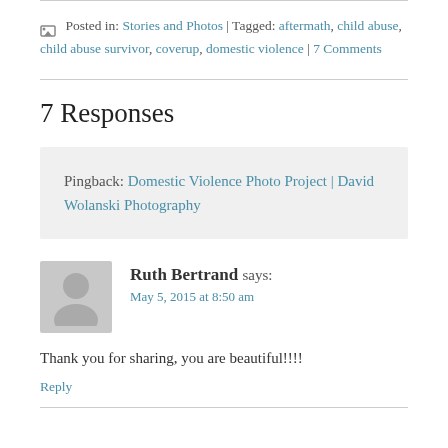Posted in: Stories and Photos | Tagged: aftermath, child abuse, child abuse survivor, coverup, domestic violence | 7 Comments
7 Responses
Pingback: Domestic Violence Photo Project | David Wolanski Photography
Ruth Bertrand says: May 5, 2015 at 8:50 am
Thank you for sharing, you are beautiful!!!!
Reply